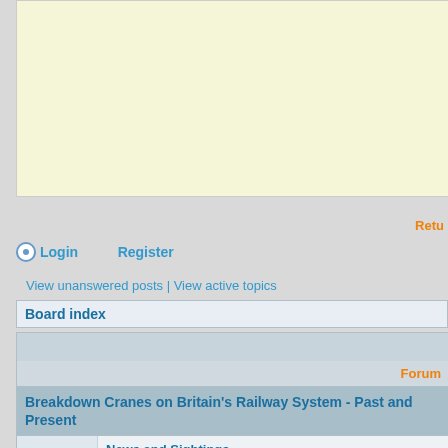[Figure (screenshot): Website banner area with light yellow background, partially cut off]
Retu
Login   Register
View unanswered posts | View active topics
Board index
| Forum |
| --- |
| Breakdown Cranes on Britain's Railway System - Past and Present |
| News and Sightings
UK Breakdown crane movements, current incidents and recovery opera... |
| Technical Matters
Relating to breakdown crane design and build, and anything else of a te... |
| General Breakdown and Recovery Discussions
Operation and recovery techniques; alternative methods and equipmen... |
| Makers, Allocations, Dates and other Miscellaneous
Historical details and anything else relating to UK breakdown cranes |